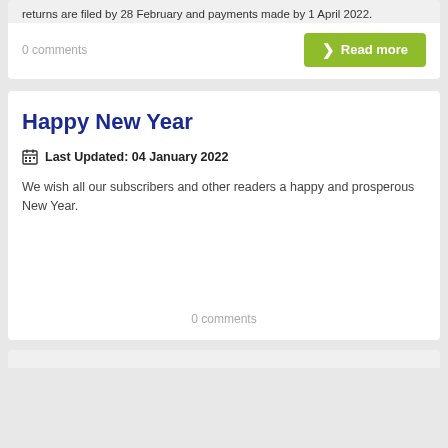returns are filed by 28 February and payments made by 1 April 2022.
0 comments
Happy New Year
Last Updated: 04 January 2022
We wish all our subscribers and other readers a happy and prosperous New Year.
0 comments